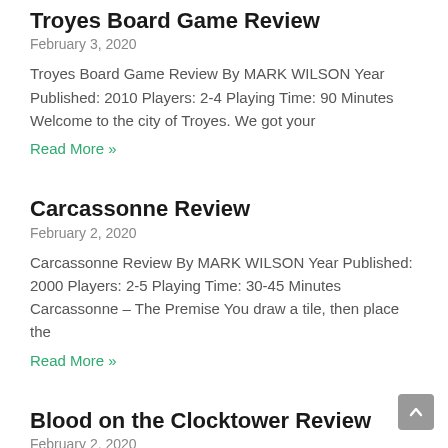Troyes Board Game Review
February 3, 2020
Troyes Board Game Review By MARK WILSON Year Published: 2010 Players: 2-4 Playing Time: 90 Minutes Welcome to the city of Troyes. We got your
Read More »
Carcassonne Review
February 2, 2020
Carcassonne Review By MARK WILSON Year Published: 2000 Players: 2-5 Playing Time: 30-45 Minutes Carcassonne – The Premise You draw a tile, then place the
Read More »
Blood on the Clocktower Review
February 2, 2020
Blood on the Clocktower Review By MARK WILSON Year Published: 2000 Players: 5-20 Playing Time: 90-120 Minut…